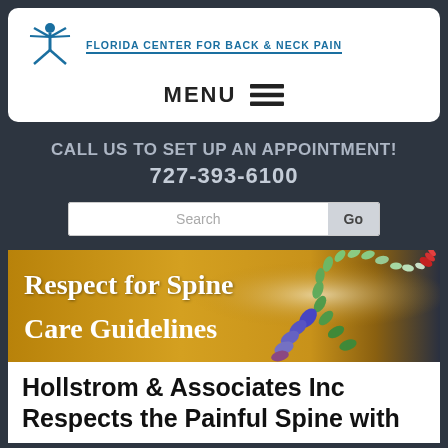[Figure (logo): Florida Center for Back & Neck Pain logo with stylized human figure and text]
MENU ☰
CALL US TO SET UP AN APPOINTMENT!
727-393-6100
[Figure (screenshot): Search bar with Search input field and Go button]
[Figure (illustration): Banner image with golden background and colorful spine illustration, text reads: Respect for Spine Care Guidelines]
Hollstrom & Associates Inc Respects the Painful Spine with